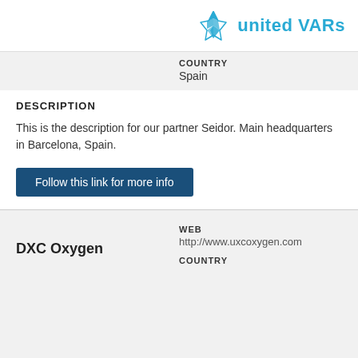[Figure (logo): United VARs logo with cyan star icon and text 'united VARs']
COUNTRY
Spain
DESCRIPTION
This is the description for our partner Seidor. Main headquarters in Barcelona, Spain.
Follow this link for more info
WEB
http://www.uxcoxygen.com
DXC Oxygen
COUNTRY